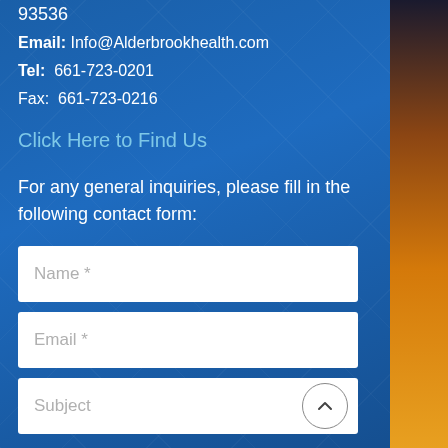93536
Email: Info@Alderbrookhealth.com
Tel: 661-723-0201
Fax: 661-723-0216
Click Here to Find Us
For any general inquiries, please fill in the following contact form:
Name *
Email *
Subject